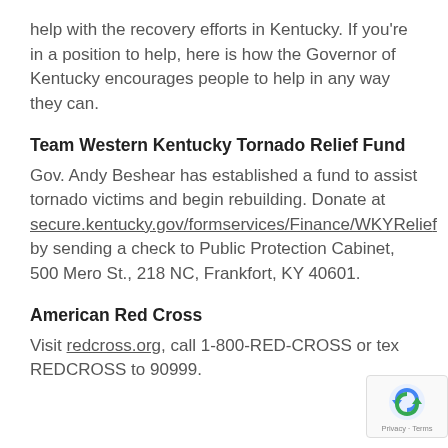help with the recovery efforts in Kentucky. If you're in a position to help, here is how the Governor of Kentucky encourages people to help in any way they can.
Team Western Kentucky Tornado Relief Fund
Gov. Andy Beshear has established a fund to assist tornado victims and begin rebuilding. Donate at secure.kentucky.gov/formservices/Finance/WKYRelief by sending a check to Public Protection Cabinet, 500 Mero St., 218 NC, Frankfort, KY 40601.
American Red Cross
Visit redcross.org, call 1-800-RED-CROSS or text REDCROSS to 90999.